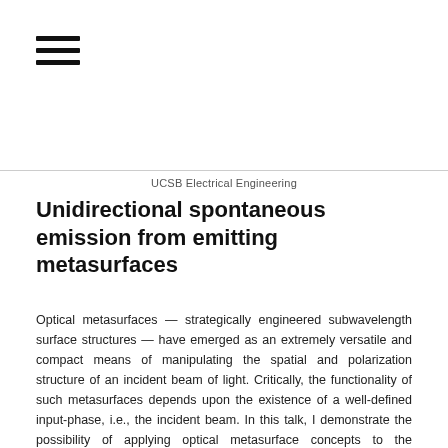[Figure (other): Hamburger menu icon — three horizontal black bars]
UCSB Electrical Engineering
Unidirectional spontaneous emission from emitting metasurfaces
Optical metasurfaces — strategically engineered subwavelength surface structures — have emerged as an extremely versatile and compact means of manipulating the spatial and polarization structure of an incident beam of light. Critically, the functionality of such metasurfaces depends upon the existence of a well-defined input-phase, i.e., the incident beam. In this talk, I demonstrate the possibility of applying optical metasurface concepts to the spontaneous emission process, thereby generating unidirectional and variable emission from III-V quantum-well structures.